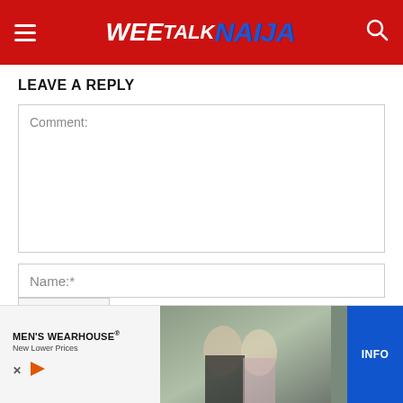WEETALKNAIJA
LEAVE A REPLY
Comment:
Name:*
[Figure (screenshot): Men's Wearhouse advertisement banner showing a couple in formal wear and a man in a suit, with 'MEN'S WEARHOUSE® New Lower Prices' text and an INFO button]